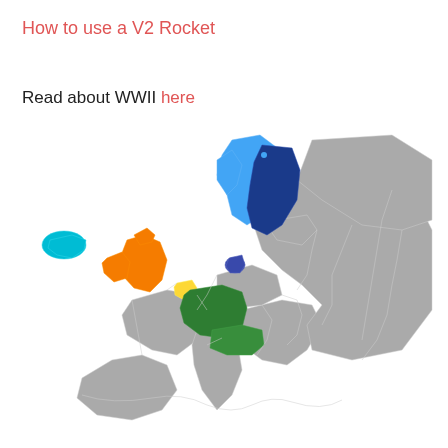How to use a V2 Rocket
Read about WWII here
[Figure (map): Map of Europe showing various countries in different colors: Iceland in cyan, Norway in blue, Sweden in dark blue, Finland/Russia area in gray, Denmark in dark blue/purple, UK and Ireland in orange, Netherlands in yellow, Germany and Austria in green, and rest of Europe in gray.]